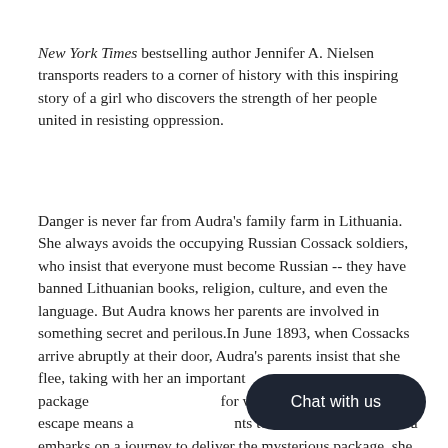New York Times bestselling author Jennifer A. Nielsen transports readers to a corner of history with this inspiring story of a girl who discovers the strength of her people united in resisting oppression.
Danger is never far from Audra's family farm in Lithuania. She always avoids the occupying Russian Cossack soldiers, who insist that everyone must become Russian -- they have banned Lithuanian books, religion, culture, and even the language. But Audra knows her parents are involved in something secret and perilous.In June 1893, when Cossacks arrive abruptly at their door, Audra's parents insist that she flee, taking with her an important package for where to deliver it. But escape means a ts to a terrible fate.As Audra embarks on a journey to deliver the mysterious package, she faces unimaginable risks, and soon